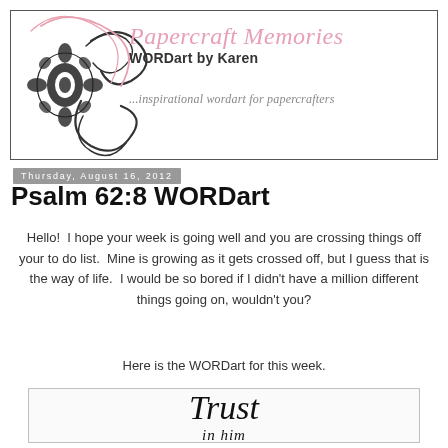[Figure (logo): Papercraft Memories blog header banner with decorative black damask and swirl ornament on the left, pink cursive script 'Papercraft Memories' at top, bold black text 'WORDart by Karen' below, and gray italic tagline '...inspirational wordart for papercrafters']
Thursday, August 16, 2012
Psalm 62:8 WORDart
Hello! I hope your week is going well and you are crossing things off your to do list. Mine is growing as it gets crossed off, but I guess that is the way of life. I would be so bored if I didn't have a million different things going on, wouldn't you?
Here is the WORDart for this week.
[Figure (illustration): White bordered preview box showing cursive calligraphic text 'Trust' and below it 'in him' in italic serif font]